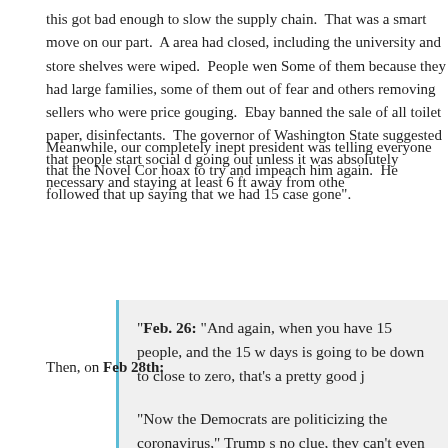this got bad enough to slow the supply chain.  That was a smart move on our part.  A area had closed, including the university and store shelves were wiped.  People wen Some of them because they had large families, some of them out of fear and others removing sellers who were price gouging.  Ebay banned the sale of all toilet paper, disinfectants.  The governor of Washington State suggested that people start social d going out unless it was absolutely necessary and staying at least 6 ft away from othe
Meanwhile, our completely inept president was telling everyone that the Novel Cor hoax to try and impeach him again.  He followed that up saying that we had 15 case gone".
“Feb. 26: “And again, when you have 15 people, and the 15 w days is going to be down to close to zero, that’s a pretty good j— Trump at a press conference.
Then, on Feb 28th:
“Now the Democrats are politicizing the coronavirus,” Trump s no clue, they can’t even count their votes in Iowa.  This is their